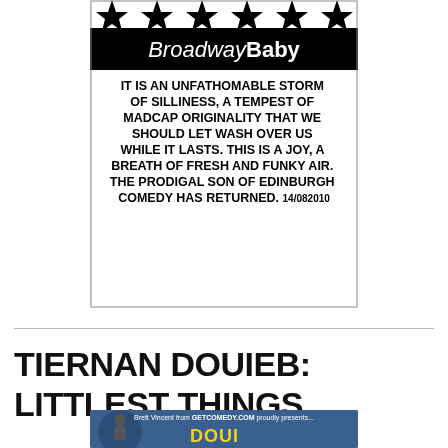[Figure (illustration): Broadway Baby review graphic. Black and white image with star graphics at top, Broadway Baby logo in a black bar, and bold black text quote: IT IS AN UNFATHOMABLE STORM OF SILLINESS, A TEMPEST OF MADCAP ORIGINALITY THAT WE SHOULD LET WASH OVER US WHILE IT LASTS. THIS IS A JOY, A BREATH OF FRESH AND FUNKY AIR. THE PRODIGAL SON OF EDINBURGH COMEDY HAS RETURNED. 14/082010]
TIERNAN DOUIEB: LITTLEST THINGS
[Figure (photo): Show poster for Tiernan Douieb Littlest Things. Brett Vincent from GETCOMEDY.COM proudly presents... with partial image of performer and yellow stylized text.]